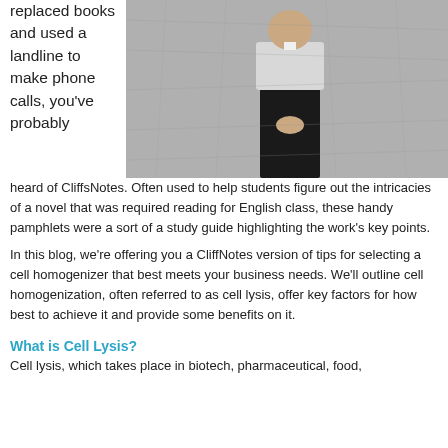replaced books and used a landline to make phone calls, you've probably heard of CliffsNotes. Often used to help students figure out the intricacies of a novel that was required reading for English class, these handy pamphlets were a sort of a study guide highlighting the work's key points.
[Figure (photo): A person standing against a textured grey wall, wearing a white shirt and dark pants, with hands clasped in front.]
In this blog, we're offering you a CliffNotes version of tips for selecting a cell homogenizer that best meets your business needs. We'll outline cell homogenization, often referred to as cell lysis, offer key factors for how best to achieve it and provide some benefits on it.
What is Cell Lysis?
Cell lysis, which takes place in biotech, pharmaceutical, food,